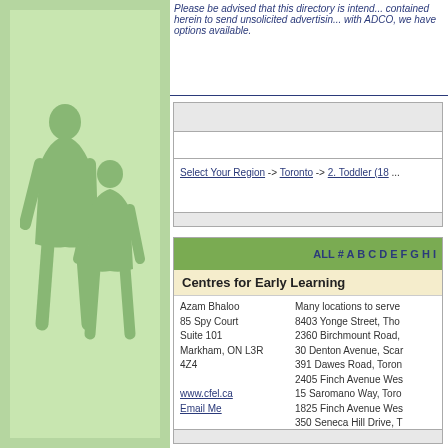Please be advised that this directory is intended to send unsolicited advertising with ADCO, we have options available.
Select Your Region -> Toronto -> 2. Toddler (18...
ALL # A B C D E F G H I
Centres for Early Learning
Azam Bhaloo
85 Spy Court
Suite 101
Markham, ON L3R 4Z4

www.cfel.ca
Email Me
Many locations to serve
8403 Yonge Street, Tho
2360 Birchmount Road,
30 Denton Avenue, Sca
391 Dawes Road, Toron
2405 Finch Avenue Wes
15 Saromano Way, Toro
1825 Finch Avenue Wes
350 Seneca Hill Drive, T
4010 Lawrence Avenue